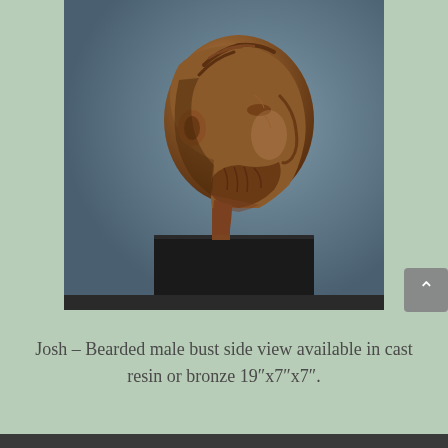[Figure (photo): Bronze or cast resin sculpture of a bearded male bust (named Josh) shown in side/profile view, mounted on a dark black square pedestal. The sculpture has detailed textured hair and beard. Background is a muted blue-grey.]
Josh – Bearded male bust side view available in cast resin or bronze 19"x7"x7".